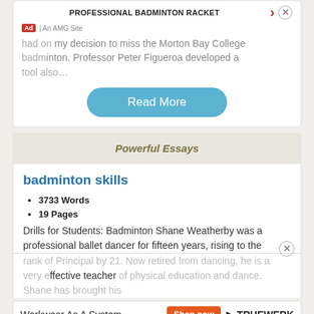had on my decision to miss the Morton Bay College badminton. Professor Peter Figueroa developed a tool also…
Read More
Powerful Essays
badminton skills
3733 Words
19 Pages
Drills for Students: Badminton Shane Weatherby was a professional ballet dancer for fifteen years, rising to the rank of Principal by 21. Now retired from dancing, he is a very effective teacher of physical education and dance. Shane has brought his understanding of and skill…